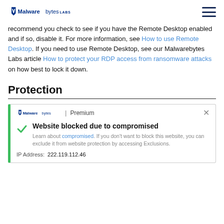Malwarebytes LABS
recommend you check to see if you have the Remote Desktop enabled and if so, disable it. For more information, see How to use Remote Desktop. If you need to use Remote Desktop, see our Malwarebytes Labs article How to protect your RDP access from ransomware attacks on how best to lock it down.
Protection
[Figure (screenshot): Malwarebytes Premium app notification: Website blocked due to compromised. Learn about compromised. If you don't want to block this website, you can exclude it from website protection by accessing Exclusions. IP Address: 222.119.112.46]